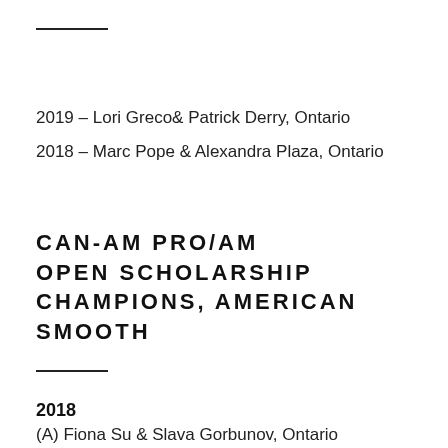2019 – Lori Greco& Patrick Derry, Ontario
2018 – Marc Pope & Alexandra Plaza, Ontario
CAN-AM PRO/AM OPEN SCHOLARSHIP CHAMPIONS, AMERICAN SMOOTH
2018
(A) Fiona Su & Slava Gorbunov, Ontario
(B) Alicia Hawryluk & Dmitry Gurkov, Ontario